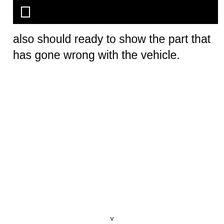[Figure (other): Black banner/header image with a small white rectangle icon in the upper left area]
also should ready to show the part that has gone wrong with the vehicle.
v